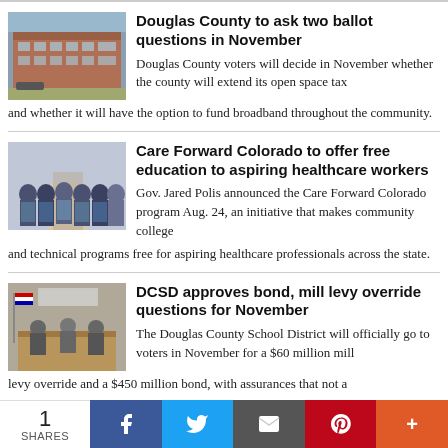[Figure (photo): Exterior photo of Douglas County building, brick multi-story structure]
Douglas County to ask two ballot questions in November
Douglas County voters will decide in November whether the county will extend its open space tax and whether it will have the option to fund broadband throughout the community.
[Figure (photo): Group photo of healthcare workers in scrubs standing together]
Care Forward Colorado to offer free education to aspiring healthcare workers
Gov. Jared Polis announced the Care Forward Colorado program Aug. 24, an initiative that makes community college and technical programs free for aspiring healthcare professionals across the state.
[Figure (photo): Interior photo of county school board meeting room with officials seated]
DCSD approves bond, mill levy override questions for November
The Douglas County School District will officially go to voters in November for a $60 million mill levy override and a $450 million bond, with assurances that not a
1 SHARES  [Facebook] [Twitter] [Email] [Pinterest] [More]